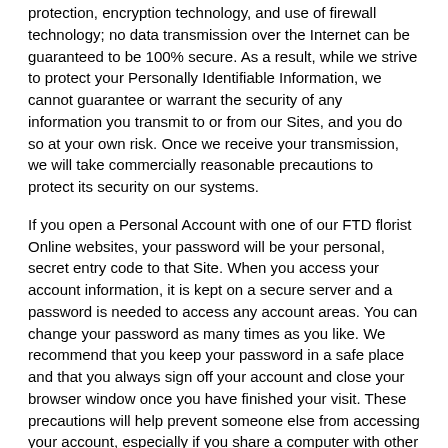protection, encryption technology, and use of firewall technology; no data transmission over the Internet can be guaranteed to be 100% secure. As a result, while we strive to protect your Personally Identifiable Information, we cannot guarantee or warrant the security of any information you transmit to or from our Sites, and you do so at your own risk. Once we receive your transmission, we will take commercially reasonable precautions to protect its security on our systems.
If you open a Personal Account with one of our FTD florist Online websites, your password will be your personal, secret entry code to that Site. When you access your account information, it is kept on a secure server and a password is needed to access any account areas. You can change your password as many times as you like. We recommend that you keep your password in a safe place and that you always sign off your account and close your browser window once you have finished your visit. These precautions will help prevent someone else from accessing your account, especially if you share a computer with other people or use a computer in a public place such as an Internet café or library.
back to top